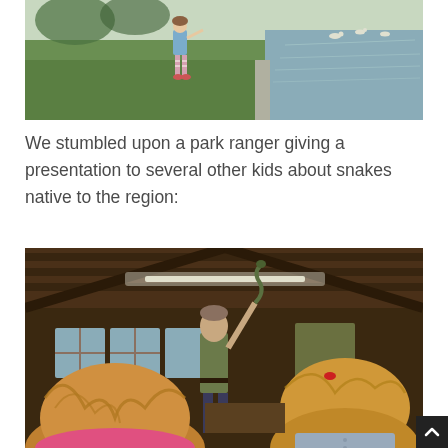[Figure (photo): A young girl in a blue dress and pink and white striped leggings walking on grass near a lakeside with ducks in the background]
We stumbled upon a park ranger giving a presentation to several other kids about snakes native to the region:
[Figure (photo): Two blonde girls viewed from behind watching a park ranger in uniform holding a snake up in a rustic wooden pavilion]